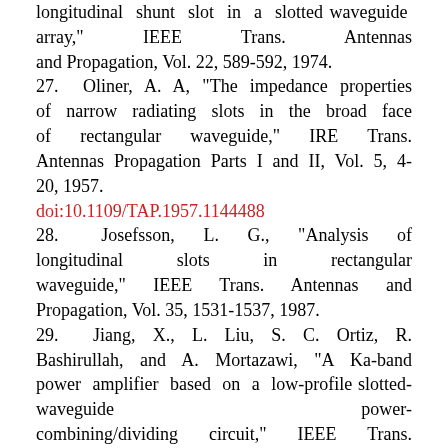longitudinal shunt slot in a slotted waveguide array," IEEE Trans. Antennas and Propagation, Vol. 22, 589-592, 1974.
27. Oliner, A. A, "The impedance properties of narrow radiating slots in the broad face of rectangular waveguide," IRE Trans. Antennas Propagation Parts I and II, Vol. 5, 4-20, 1957.
doi:10.1109/TAP.1957.1144488
28. Josefsson, L. G., "Analysis of longitudinal slots in rectangular waveguide," IEEE Trans. Antennas and Propagation, Vol. 35, 1531-1537, 1987.
29. Jiang, X., L. Liu, S. C. Ortiz, R. Bashirullah, and A. Mortazawi, "A Ka-band power amplifier based on a low-profile slotted-waveguide power-combining/dividing circuit," IEEE Trans. Microwave Theory and Techniques, Vol. 51, 144-146, 2000.
30. Che, W., K. Deng, D.Wang, and Y. L. Chow, "Analytical equivalence between